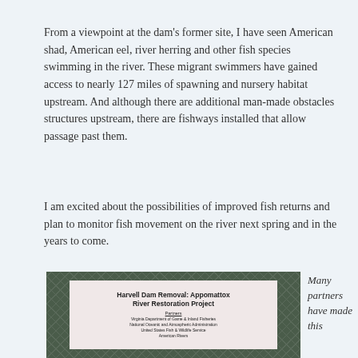From a viewpoint at the dam's former site, I have seen American shad, American eel, river herring and other fish species swimming in the river. These migrant swimmers have gained access to nearly 127 miles of spawning and nursery habitat upstream. And although there are additional man-made obstacles structures upstream, there are fishways installed that allow passage past them.
I am excited about the possibilities of improved fish returns and plan to monitor fish movement on the river next spring and in the years to come.
[Figure (photo): Photo of a sign on a chain-link fence reading 'Harvell Dam Removal: Appomattox River Restoration Project' with partners listed: Virginia Department of Game & Inland Fisheries, National Oceanic and Atmospheric Administration, United States Fish & Wildlife Service, American Rivers]
Many partners have made this